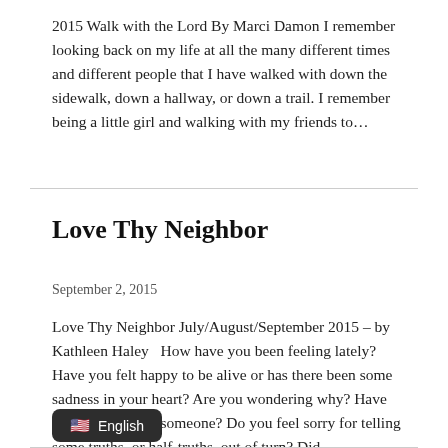2015 Walk with the Lord By Marci Damon I remember looking back on my life at all the many different times and different people that I have walked with down the sidewalk, down a hallway, or down a trail. I remember being a little girl and walking with my friends to...
Love Thy Neighbor
September 2, 2015
Love Thy Neighbor July/August/September 2015 – by Kathleen Haley  How have you been feeling lately? Have you felt happy to be alive or has there been some sadness in your heart? Are you wondering why? Have you spoken ill of someone? Do you feel sorry for telling some truths, or half-truths, out of turn? Did...